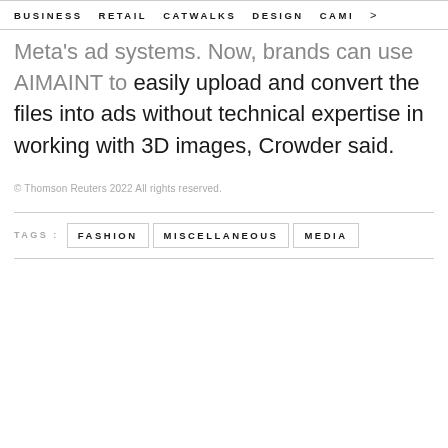BUSINESS   RETAIL   CATWALKS   DESIGN   CAMI  >
Meta's ad systems. Now, brands can use AIMAINT to easily upload and convert the files into ads without technical expertise in working with 3D images, Crowder said.
© Thomson Reuters 2022 All rights reserved.
TAGS : FASHION   MISCELLANEOUS   MEDIA